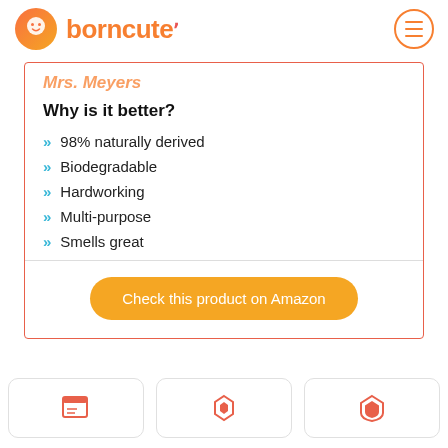borncute
Mrs. Meyers
Why is it better?
98% naturally derived
Biodegradable
Hardworking
Multi-purpose
Smells great
Check this product on Amazon
[Figure (other): Three icon cards at the bottom of the page showing orange icons]